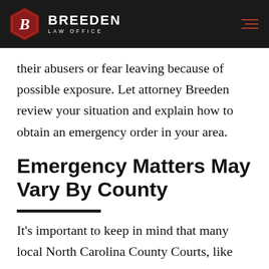BREEDEN LAW OFFICE
their abusers or fear leaving because of possible exposure. Let attorney Breeden review your situation and explain how to obtain an emergency order in your area.
Emergency Matters May Vary By County
It's important to keep in mind that many local North Carolina County Courts, like...